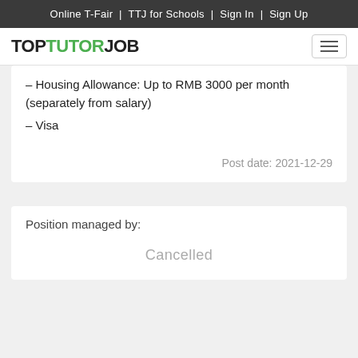Online T-Fair | TTJ for Schools | Sign In | Sign Up
[Figure (logo): TopTutorJob logo with TUTOR in green and TOP/JOB in black]
– Housing Allowance: Up to RMB 3000 per month (separately from salary)
– Visa
Post date: 2021-12-29
Position managed by:
Cancelled